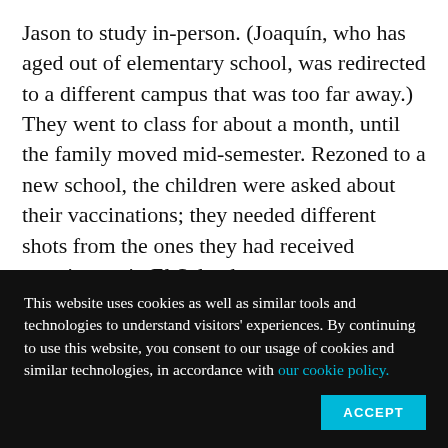Jason to study in-person. (Joaquín, who has aged out of elementary school, was redirected to a different campus that was too far away.) They went to class for about a month, until the family moved mid-semester. Rezoned to a new school, the children were asked about their vaccinations; they needed different shots from the ones they had received growing up in El Salvador.
This website uses cookies as well as similar tools and technologies to understand visitors' experiences. By continuing to use this website, you consent to our usage of cookies and similar technologies, in accordance with our cookie policy.